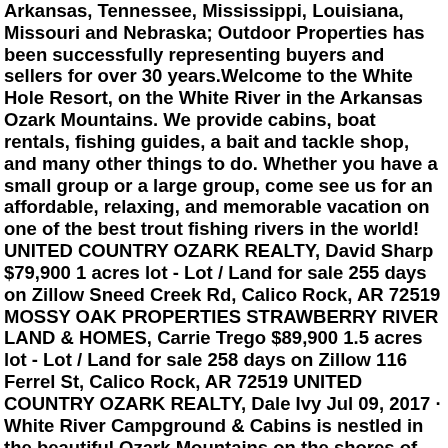Arkansas, Tennessee, Mississippi, Louisiana, Missouri and Nebraska; Outdoor Properties has been successfully representing buyers and sellers for over 30 years.Welcome to the White Hole Resort, on the White River in the Arkansas Ozark Mountains. We provide cabins, boat rentals, fishing guides, a bait and tackle shop, and many other things to do. Whether you have a small group or a large group, come see us for an affordable, relaxing, and memorable vacation on one of the best trout fishing rivers in the world! UNITED COUNTRY OZARK REALTY, David Sharp $79,900 1 acres lot - Lot / Land for sale 255 days on Zillow Sneed Creek Rd, Calico Rock, AR 72519 MOSSY OAK PROPERTIES STRAWBERRY RIVER LAND & HOMES, Carrie Trego $89,900 1.5 acres lot - Lot / Land for sale 258 days on Zillow 116 Ferrel St, Calico Rock, AR 72519 UNITED COUNTRY OZARK REALTY, Dale Ivy Jul 09, 2017 · White River Campground & Cabins is nestled in the beautiful Ozark Mountains on the shores of the magnificent White River just across Rainbow Bridge